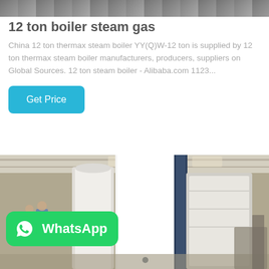[Figure (photo): Top partial photo of industrial boiler equipment in a factory/warehouse setting]
12 ton boiler steam gas
China 12 ton thermax steam boiler YY(Q)W-12 ton is supplied by 12 ton thermax steam boiler manufacturers, producers, suppliers on Global Sources. 12 ton steam boiler - Alibaba.com 1123...
[Figure (photo): Industrial warehouse with large white cylindrical boiler units wrapped in plastic, workers visible in background, WhatsApp badge overlay]
[Figure (logo): WhatsApp badge with green background showing WhatsApp phone icon and text 'WhatsApp']